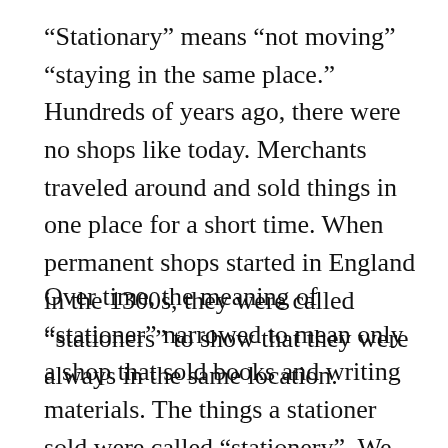“Stationary” means “not moving” “staying in the same place.” Hundreds of years ago, there were no shops like today. Merchants traveled around and sold things in one place for a short time. When permanent shops started in England in the 1300s, they were called “stationers” to show that they were always in the same location.
Over time, the meaning of “stationer” narrowed to mean only a shop that sold books and writing materials. The things a stationer sold were called “stationery”. We still use this word to refer to materials used for writing,